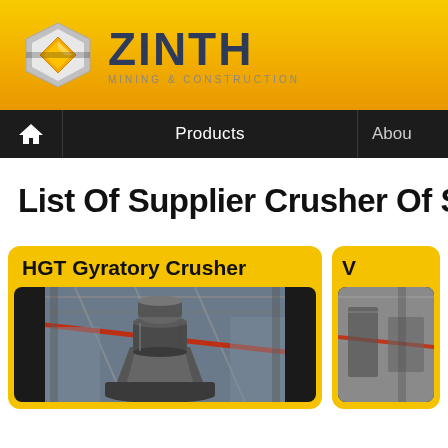[Figure (logo): ZINTH Mining & Construction company logo with diamond-shaped icon and bold text on yellow/gold gradient header bar]
[Figure (screenshot): Navigation bar with home icon, Products link, and About link on dark background]
List Of Supplier Crusher Of Silic
[Figure (photo): HGT Gyratory Crusher product card with yellow header and photo of industrial gyratory crusher machinery in factory setting]
[Figure (photo): Second product card (partially visible) with yellow header and industrial machinery photo]